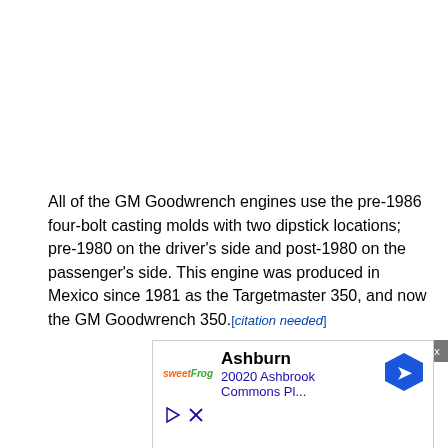All of the GM Goodwrench engines use the pre-1986 four-bolt casting molds with two dipstick locations; pre-1980 on the driver's side and post-1980 on the passenger's side. This engine was produced in Mexico since 1981 as the Targetmaster 350, and now the GM Goodwrench 350.[citation needed]
The 350 can be turned into a 383 stroker or a 355. The 383 can be made by purchasing a kit that comes with everything that is needed except machine work. The cylinders should also be bored .030 over. The 383 has a bore of 4.030 and a stroke of 3.75 inches.The 355 can be made by just boring the block .030 over and using the stock 350 crank. The 355 has a bore of 4.030 and a stock stroke of 3.48 in...
[Figure (other): Advertisement banner showing Ashburn location with SweetFrog logo and map pin icon, address 20020 Ashbrook Commons Pl...]